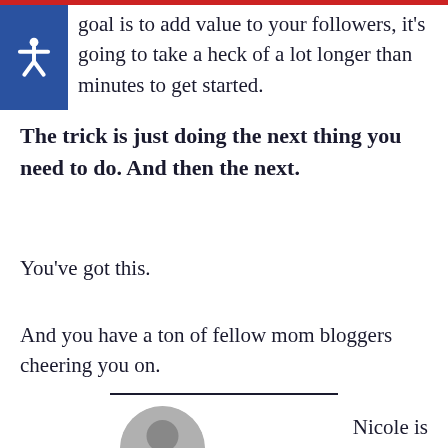goal is to add value to your followers, it's going to take a heck of a lot longer than minutes to get started.
The trick is just doing the next thing you need to do. And then the next.
You've got this.
And you have a ton of fellow mom bloggers cheering you on.
Nicole is